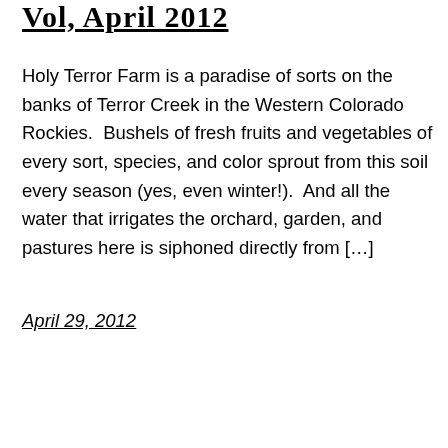Vol, April 2012
Holy Terror Farm is a paradise of sorts on the banks of Terror Creek in the Western Colorado Rockies.  Bushels of fresh fruits and vegetables of every sort, species, and color sprout from this soil every season (yes, even winter!).  And all the water that irrigates the orchard, garden, and pastures here is siphoned directly from [...]
April 29, 2012